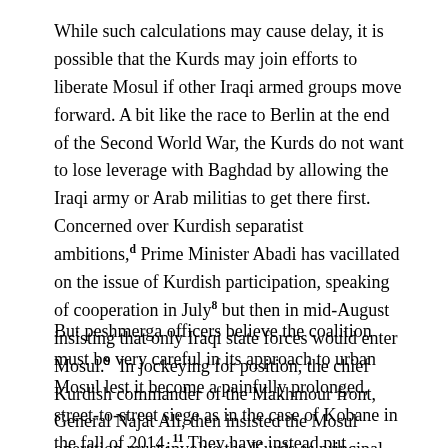While such calculations may cause delay, it is possible that the Kurds may join efforts to liberate Mosul if other Iraqi armed groups move forward. A bit like the race to Berlin at the end of the Second World War, the Kurds do not want to lose leverage with Baghdad by allowing the Iraqi army or Arab militias to get there first. Concerned over Kurdish separatist ambitions,d Prime Minister Abadi has vacillated on the issue of Kurdish participation, speaking of cooperation in July8 but then in mid-August insisting that only Iraqi state forces would enter Mosul.9 In jockeying for position, the chief Kurdish commander of the Makhmour front, General Najat Ali, then insisted the Mosul operation must involve the Kurds as principal armed actors.10 e
But peshmerga officers believe the coalition must be very careful in its approach to urban Mosul lest it become a painfully prolonged, street-to-street siege as in the case of Kobane in the fall of 2014.11 They have instead put